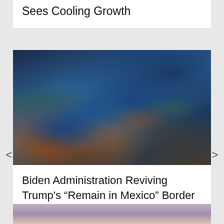Sees Cooling Growth
[Figure (photo): Aerial view of a large migrant camp with many blue and colorful tents crowded together in an outdoor area at dusk or night]
Biden Administration Reviving Trump’s “Remain in Mexico” Border Policy
[Figure (photo): Partial photo visible at bottom, appears to show a sky or outdoor scene]